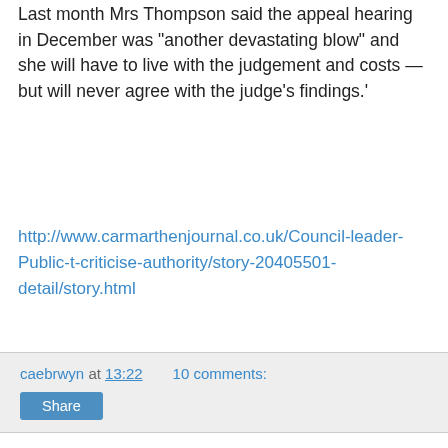Last month Mrs Thompson said the appeal hearing in December was “another devastating blow” and she will have to live with the judgement and costs — but will never agree with the judge’s findings.’
http://www.carmarthenjournal.co.uk/Council-leader-Public-t-criticise-authority/story-20405501-detail/story.html
caebrwyn at 13:22    10 comments:
Share
Thursday, 2 January 2014
2014 kicks off: Next week’s agendas
Whilst backbench councillors and observers wait interminably for reports on ‘unlawful payments’, email ‘snooping’, consultants fees, ombudsman reports, freedom of information requests and the like, there’s no such wait for a